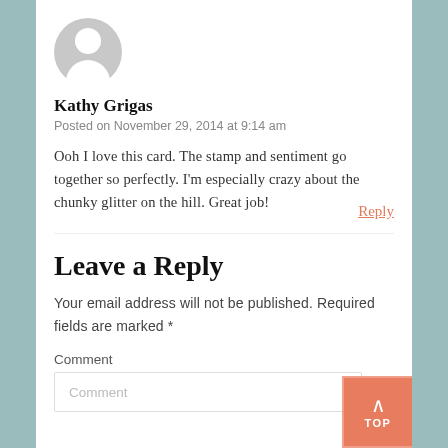[Figure (illustration): Gray circular avatar/profile icon with white silhouette of a person (head and shoulders)]
Kathy Grigas
Posted on November 29, 2014 at 9:14 am
Reply
Ooh I love this card. The stamp and sentiment go together so perfectly. I'm especially crazy about the chunky glitter on the hill. Great job!
Leave a Reply
Your email address will not be published. Required fields are marked *
Comment